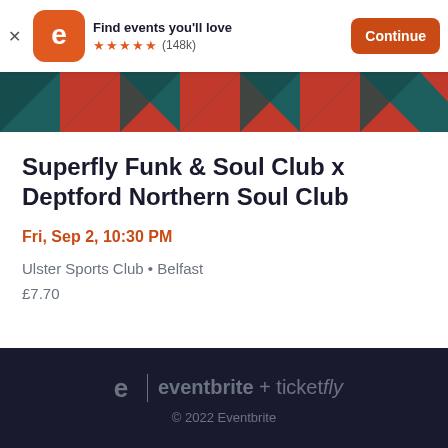[Figure (screenshot): Eventbrite app install banner with orange 'e' logo icon, 'Find events you'll love' text, 5-star rating (148k reviews), and orange Continue button]
[Figure (illustration): Geometric pattern header image with teal/dark green and red triangular shapes]
Superfly Funk & Soul Club x Deptford Northern Soul Club
Fri, Sep 2, 10:30 PM
Ulster Sports Club • Belfast
£7.70
eventbrite + ticketfly © 2022 Eventbrite